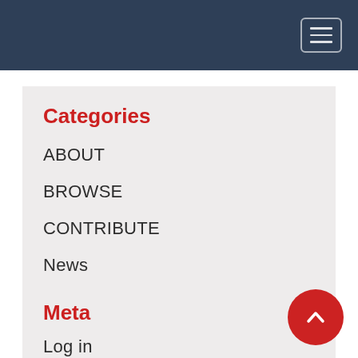Navigation header with hamburger menu
Categories
ABOUT
BROWSE
CONTRIBUTE
News
Meta
Log in